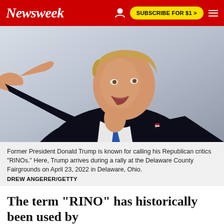Newsweek | SUBSCRIBE FOR $1 >
[Figure (photo): Former President Donald Trump pointing forward, wearing a dark suit and blue tie, arriving during a rally]
Former President Donald Trump is known for calling his Republican critics "RINOs." Here, Trump arrives during a rally at the Delaware County Fairgrounds on April 23, 2022 in Delaware, Ohio.
DREW ANGERER/GETTY
The term "RINO" has historically been used by